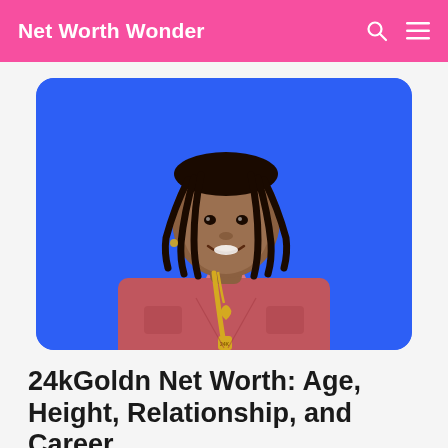Net Worth Wonder
[Figure (photo): Young man with braided hair wearing a pink/mauve open shirt over a white tee, with gold chains and pendants, standing in front of a bright blue background.]
24kGoldn Net Worth: Age, Height, Relationship, and Career